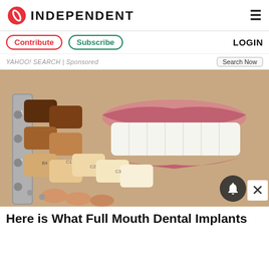INDEPENDENT
Contribute  Subscribe  LOGIN
YAHOO! SEARCH | Sponsored  Search Now
[Figure (photo): Close-up photo of a smiling person with white teeth, alongside a dental shade guide showing various shades of veneers/implants from dark brown to white, labeled S1, B1, B3, B4, C1, C2, C3]
Here is What Full Mouth Dental Implants